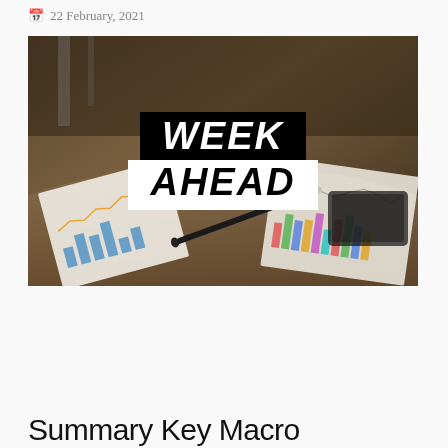22 February, 2021
[Figure (photo): A desk scene with financial charts and a pen, overlaid with a 'WEEK AHEAD' banner in black and white text blocks.]
Summary Key Macro